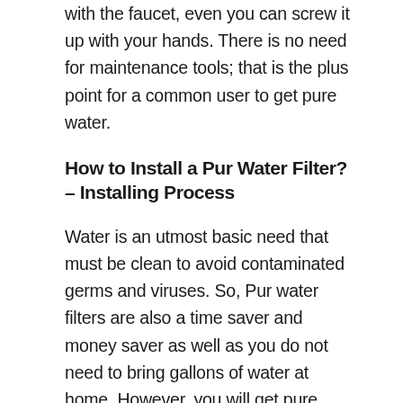with the faucet, even you can screw it up with your hands. There is no need for maintenance tools; that is the plus point for a common user to get pure water.
How to Install a Pur Water Filter? – Installing Process
Water is an utmost basic need that must be clean to avoid contaminated germs and viruses. So, Pur water filters are also a time saver and money saver as well as you do not need to bring gallons of water at home. However, you will get pure filtered water at home from your kitchen tap.